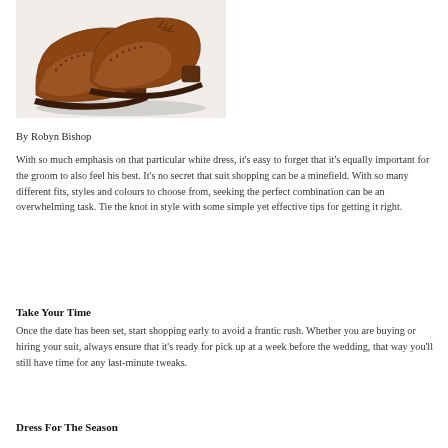[Figure (photo): A pair of brown leather wingtip brogue oxford shoes photographed on a light grey background.]
By Robyn Bishop
With so much emphasis on that particular white dress, it's easy to forget that it's equally important for the groom to also feel his best. It's no secret that suit shopping can be a minefield. With so many different fits, styles and colours to choose from, seeking the perfect combination can be an overwhelming task. Tie the knot in style with some simple yet effective tips for getting it right.
Take Your Time
Once the date has been set, start shopping early to avoid a frantic rush. Whether you are buying or hiring your suit, always ensure that it's ready for pick up at a week before the wedding, that way you'll still have time for any last-minute tweaks.
Dress For The Season